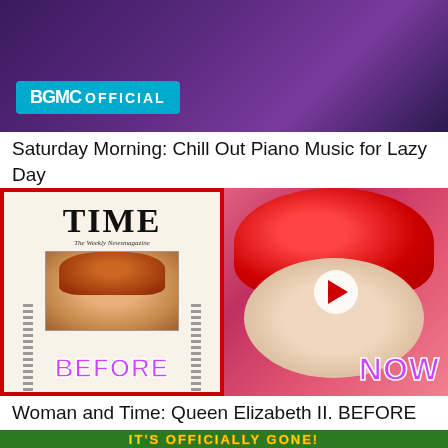[Figure (screenshot): Video thumbnail with dark purple background and BGMC OFFICIAL badge in cyan]
Saturday Morning: Chill Out Piano Music for Lazy Day
[Figure (screenshot): Before/NOW comparison thumbnail showing Time magazine cover with young Queen Elizabeth and current photo of Queen Elizabeth II in red hat. Play button in center. Text BEFORE and NOW in purple.]
Woman and Time: Queen Elizabeth II. BEFORE and NOW
[Figure (screenshot): Partially visible thumbnail with green background showing text IT'S OFFICIALLY GONE! in yellow]